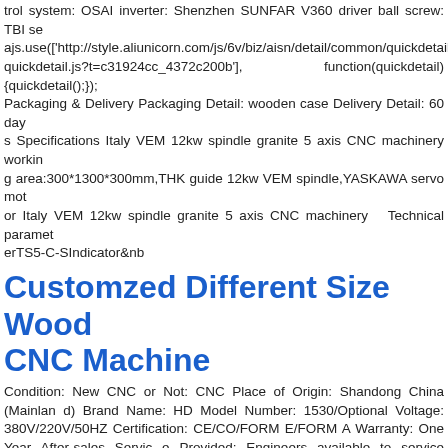trol system: OSAI inverter: Shenzhen SUNFAR V360 driver ball screw: TBI seajs.use(['http://style.aliunicorn.com/js/6v/biz/aisn/detail/common/quickdetail/??quickdetail.js?t=c31924cc_4372c200b'], function(quickdetail){quickdetail();}); Packaging & Delivery Packaging Detail: wooden case Delivery Detail: 60 days Specifications Italy VEM 12kw spindle granite 5 axis CNC machinery working area:300*1300*300mm,THK guide 12kw VEM spindle,YASKAWA servo motor Italy VEM 12kw spindle granite 5 axis CNC machinery   Technical parametersTS5-C-SIndicator&nb
Customzed Different Size Wood CNC Machine
Condition: New CNC or Not: CNC Place of Origin: Shandong China (Mainland) Brand Name: HD Model Number: 1530/Optional Voltage: 380V/220V/50HZ Certification: CE/CO/FORM E/FORM A Warranty: One Year After-sales Service Provided: Engineers available to service machinery overseas Main Axis: 4.5kw Italy Cooled Spindle Motor: Stepper/Servo X Y Axis: Gear Rack, PMI/HI Square Guide Rail Z axis: German Ball Screw Working Size: T-slot/Vacuum Table seajs.use(['http://style.aliunicorn.com/js/6v/biz/aisn/detail/common/quickdetail/??quickdetail.js?t=c31924cc_4372c200b'], function(quickdetail){quickdetail();}); Packaging & Delivery Packaging Detail: wooden case Delivery Detail: 15 days after deposit Specifications Customzed Different Size Wood CNC Machine Maintenance-free PMI guide rail German Ball Screw for Z axis Air Cooled Spindle Customzed Different Size Wood CNC Machine    Technical Parameters:  Model HD-1530HD-2030HD-2040/CustomizedX Y working
4 Axis Cnc Router Machine Cnc